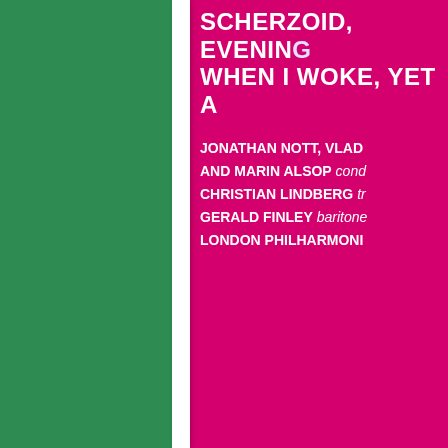[Figure (illustration): Green sidebar panel on the left side of the page]
[Figure (photo): Pink concert/event poster (partially visible, cropped on right) showing text: SCHERZOID, EVENING / WHEN I WOKE, YET A / JONATHAN NOTT, VLAD / AND MARIN ALSOP cond / CHRISTIAN LINDBERG tr / GERALD FINLEY baritone / LONDON PHILHARMONI]
SCHERZOID, EVENING
WHEN I WOKE, YET A

JONATHAN NOTT, VLAD
AND MARIN ALSOP cond
CHRISTIAN LINDBERG tr
GERALD FINLEY baritone
LONDON PHILHARMONI
[Figure (screenshot): infolinks advertisement bar at bottom showing makeup/beauty images (lips, brush, eye), Ulta Beauty logo, smoky eye photo, and SHOP NOW call-to-action with close button]